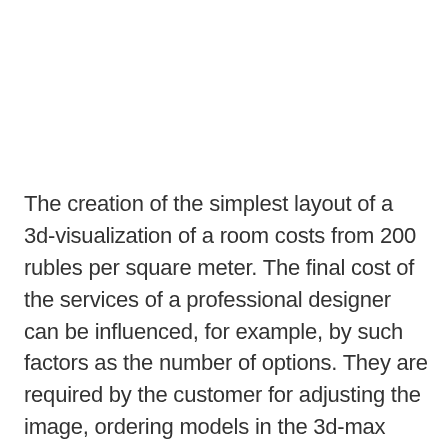The creation of the simplest layout of a 3d-visualization of a room costs from 200 rubles per square meter. The final cost of the services of a professional designer can be influenced, for example, by such factors as the number of options. They are required by the customer for adjusting the image, ordering models in the 3d-max program for the ability to make personal adjustments. As a result, the customer receives an ideal project for his future interior. And he saves a lot of time when buying finishing materials, choosing furniture, decor and